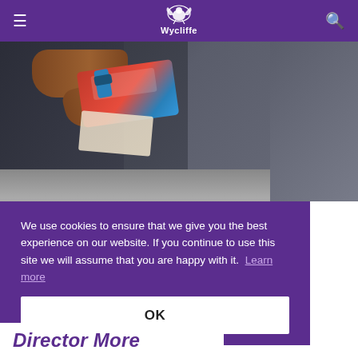Wycliffe
[Figure (photo): Student in dark blazer holding a red and blue book/folder, gravel background]
We use cookies to ensure that we give you the best experience on our website. If you continue to use this site we will assume that you are happy with it.  Learn more
OK
Director More